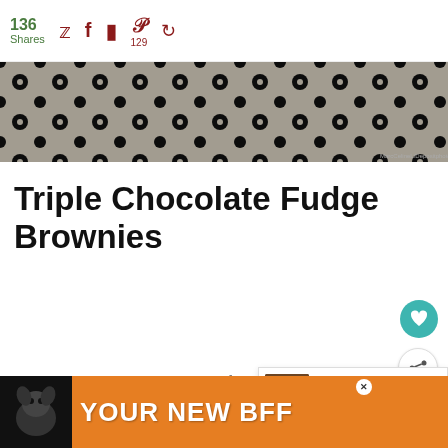136 Shares
[Figure (screenshot): Black and white lace pattern photo strip]
Triple Chocolate Fudge Brownies
The best part is when they come out of the oven w...
[Figure (infographic): What's Next panel: Crockpot Brownie... with thumbnail]
Try... ice cream sau... nt dessert
[Figure (infographic): Advertisement banner: YOUR NEW BFF with dog image on orange background]